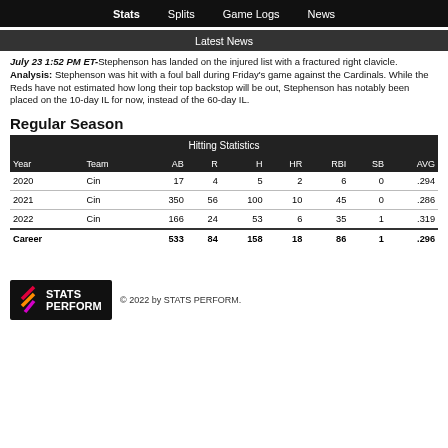Stats  Splits  Game Logs  News
Latest News
July 23 1:52 PM ET-Stephenson has landed on the injured list with a fractured right clavicle.
Analysis: Stephenson was hit with a foul ball during Friday's game against the Cardinals. While the Reds have not estimated how long their top backstop will be out, Stephenson has notably been placed on the 10-day IL for now, instead of the 60-day IL.
Regular Season
| Year | Team | AB | R | H | HR | RBI | SB | AVG |
| --- | --- | --- | --- | --- | --- | --- | --- | --- |
| 2020 | Cin | 17 | 4 | 5 | 2 | 6 | 0 | .294 |
| 2021 | Cin | 350 | 56 | 100 | 10 | 45 | 0 | .286 |
| 2022 | Cin | 166 | 24 | 53 | 6 | 35 | 1 | .319 |
| Career |  | 533 | 84 | 158 | 18 | 86 | 1 | .296 |
© 2022 by STATS PERFORM.